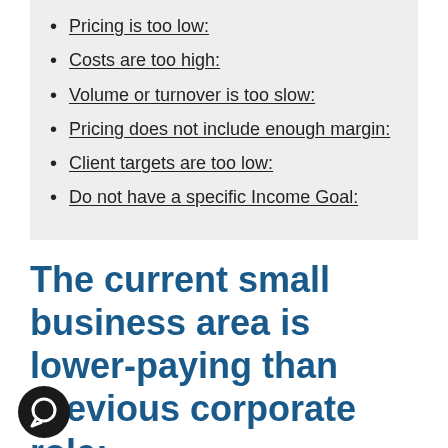Pricing is too low:
Costs are too high:
Volume or turnover is too slow:
Pricing does not include enough margin:
Client targets are too low:
Do not have a specific Income Goal:
The current small business area is lower-paying than previous corporate role: